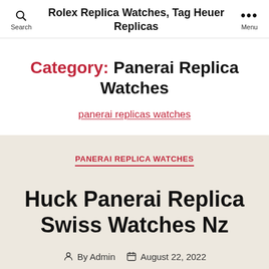Rolex Replica Watches, Tag Heuer Replicas
Category: Panerai Replica Watches
panerai replicas watches
PANERAI REPLICA WATCHES
Huck Panerai Replica Swiss Watches Nz
By Admin  August 22, 2022